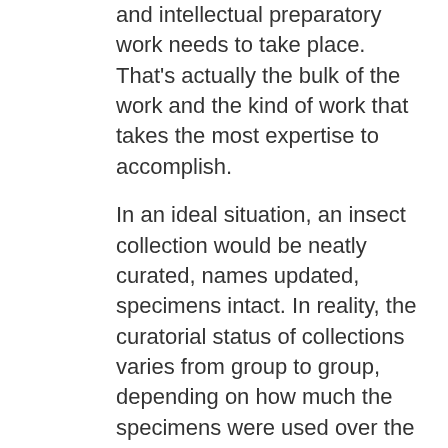and intellectual preparatory work needs to take place. That's actually the bulk of the work and the kind of work that takes the most expertise to accomplish.
In an ideal situation, an insect collection would be neatly curated, names updated, specimens intact. In reality, the curatorial status of collections varies from group to group, depending on how much the specimens were used over the years. As I mentioned in a previous post, the Lepidoptera, the group of the butterflies and moths, was never a focus of researchers at Ohio State. Consequently, the OSU butterfly collection was never a priority for curation. The specimens are well preserved, but still stored in old-fashioned drawers and trays, tightly shingled (wings overlapping) to save